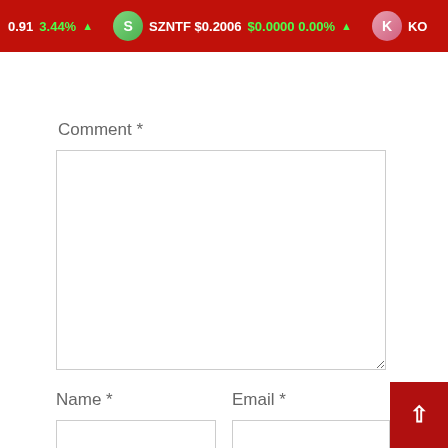0.91 3.44% ▲  SZNTF $0.2006 $0.0000 0.00% ▲  KO
Comment *
Name *
Email *